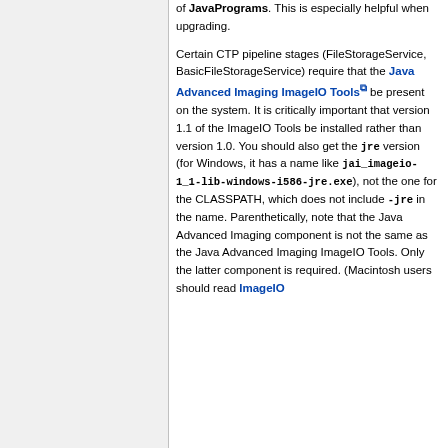of JavaPrograms. This is especially helpful when upgrading.
Certain CTP pipeline stages (FileStorageService, BasicFileStorageService) require that the Java Advanced Imaging ImageIO Tools be present on the system. It is critically important that version 1.1 of the ImageIO Tools be installed rather than version 1.0. You should also get the jre version (for Windows, it has a name like jai_imageio-1_1-lib-windows-i586-jre.exe), not the one for the CLASSPATH, which does not include -jre in the name. Parenthetically, note that the Java Advanced Imaging component is not the same as the Java Advanced Imaging ImageIO Tools. Only the latter component is required. (Macintosh users should read ImageIO